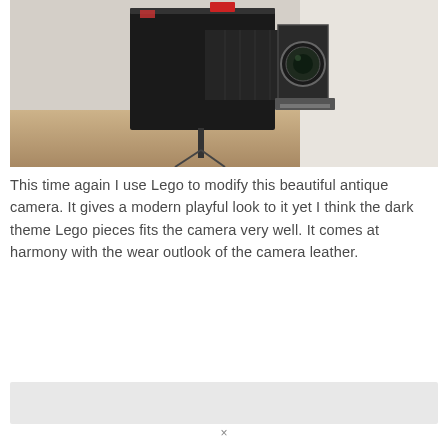[Figure (photo): An antique large-format bellows camera (appears to be a press or field camera) mounted on a tripod, photographed in an indoor setting with warm wooden tones and a curtain in the background. The camera is black with metallic fittings and a lens board visible.]
This time again I use Lego to modify this beautiful antique camera. It gives a modern playful look to it yet I think the dark theme Lego pieces fits the camera very well. It comes at harmony with the wear outlook of the camera leather.